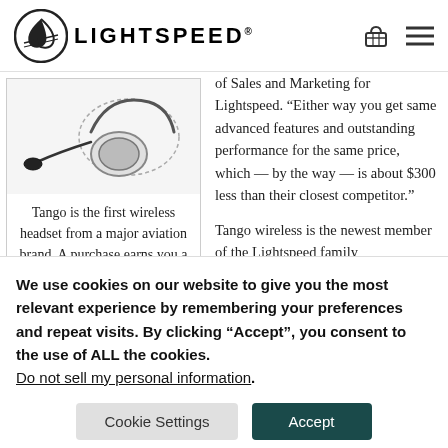LIGHTSPEED
[Figure (photo): Lightspeed Tango wireless aviation headset photographed from above on white background, showing microphone boom and ear cup.]
Tango is the first wireless headset from a major aviation brand. A purchase earns you a $50 Visa gift card during Lightspeed's Winter Event.
of Sales and Marketing for Lightspeed. “Either way you get same advanced features and outstanding performance for the same price, which — by the way — is about $300 less than their closest competitor.”
Tango wireless is the newest member of the Lightspeed family
We use cookies on our website to give you the most relevant experience by remembering your preferences and repeat visits. By clicking “Accept”, you consent to the use of ALL the cookies. Do not sell my personal information.
Cookie Settings
Accept